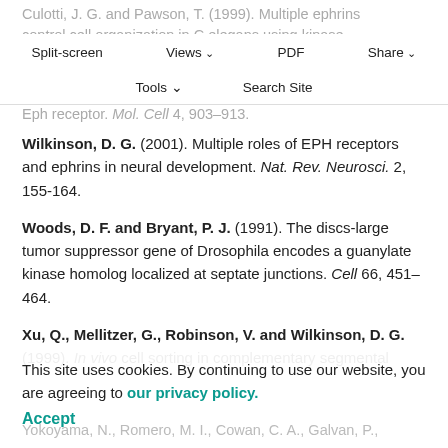Culotti, J. G. and Pawson, T. (1999). Multiple ephrins control cell organization in C.elegans using kinase-dependant and -independent functions of the vab-1 Eph receptor. Mol. Cell 4, 903-913.
Split-screen | Views | PDF | Share | Tools | Search Site
Wilkinson, D. G. (2001). Multiple roles of EPH receptors and ephrins in neural development. Nat. Rev. Neurosci. 2, 155-164.
Woods, D. F. and Bryant, P. J. (1991). The discs-large tumor suppressor gene of Drosophila encodes a guanylate kinase homolog localized at septate junctions. Cell 66, 451-464.
Xu, Q., Mellitzer, G., Robinson, V. and Wilkinson, D. G. (1999). In vivo cell sorting in complementary segmental ...
This site uses cookies. By continuing to use our website, you are agreeing to our privacy policy. Accept
Yokoyama, N., Romero, M. I., Cowan, C. A., Galvan, P., ...